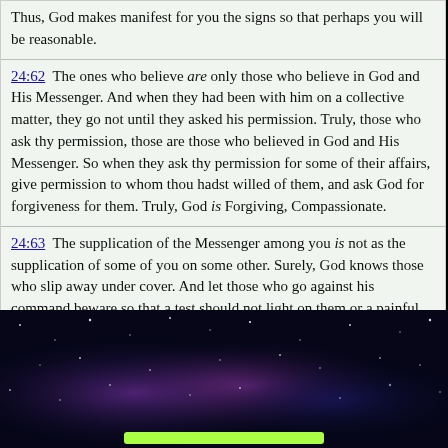Thus, God makes manifest for you the signs so that perhaps you will be reasonable.
24:62  The ones who believe are only those who believe in God and His Messenger. And when they had been with him on a collective matter, they go not until they asked his permission. Truly, those who ask thy permission, those are those who believed in God and His Messenger. So when they ask thy permission for some of their affairs, give permission to whom thou hadst willed of them, and ask God for forgiveness for them. Truly, God is Forgiving, Compassionate.
24:63  The supplication of the Messenger among you is not as the supplication of some of you on some other. Surely, God knows those who slip away under cover. And let those who go against his command beware so that a test should not light on them or a painful punishment not light on them.
24:64  Surely, to God belongs whatever is in the heavens and the earth. Surely, He knows what you did. And on the Day when they are returned to Him, then, He will tell them what their hands did, and God is Knowing of everything.
[Figure (photo): Dark space/nebula background image with purple and blue hues, stars visible. A green bar appears at the bottom.]